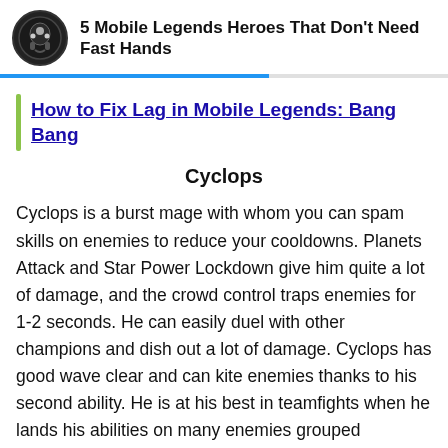5 Mobile Legends Heroes That Don't Need Fast Hands
How to Fix Lag in Mobile Legends: Bang Bang
Cyclops
Cyclops is a burst mage with whom you can spam skills on enemies to reduce your cooldowns. Planets Attack and Star Power Lockdown give him quite a lot of damage, and the crowd control traps enemies for 1-2 seconds. He can easily duel with other champions and dish out a lot of damage. Cyclops has good wave clear and can kite enemies thanks to his second ability. He is at his best in teamfights when he lands his abilities on many enemies grouped together, which keeps refreshing his ability cooldowns. This makes es, among to